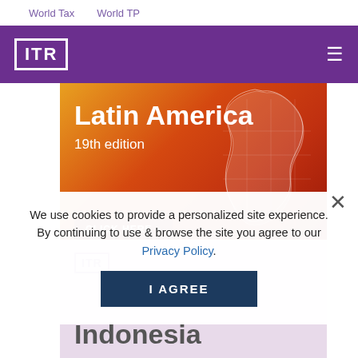World Tax    World TP
[Figure (logo): ITR logo in white on purple header bar with hamburger menu]
[Figure (illustration): Latin America 19th edition banner with orange-red gradient and South America map outline, with CLICK HERE button]
We use cookies to provide a personalized site experience. By continuing to use & browse the site you agree to our Privacy Policy.
I AGREE
[Figure (illustration): Indonesia edition banner with ITR logo on light purple background, partially visible]